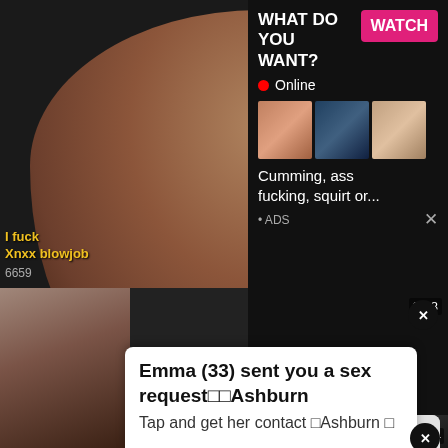[Figure (screenshot): Adult video website screenshot with multiple overlapping advertisements including a 'WHAT DO YOU WANT? WATCH' ad with thumbnails, a missed call notification from Eliza with audio player, and a sex request notification from Emma (33) in Ashburn]
WHAT DO YOU WANT?
WATCH
Online
Cumming, ass fucking, squirt or...
ADS
I fuck... Xnxx blowjob
6659
ADS
(1)Missed Call from Eliza
pleeease call me back.. I miss y...
0:00
3:23
Emma (33) sent you a sex request□□Ashburn
Tap and get her contact □Ashburn □
9:54